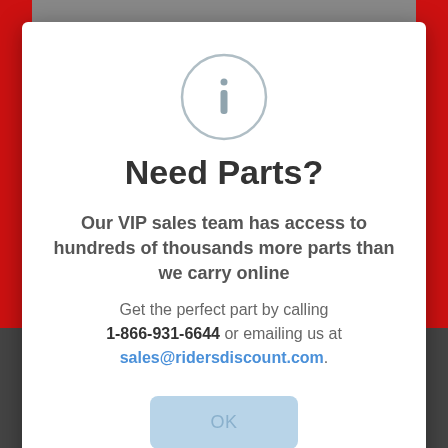[Figure (screenshot): Website screenshot background with red sidebar strips and motorcycle at bottom, overlaid by a modal dialog]
Need Parts?
Our VIP sales team has access to hundreds of thousands more parts than we carry online
Get the perfect part by calling 1-866-931-6644 or emailing us at sales@ridersdiscount.com.